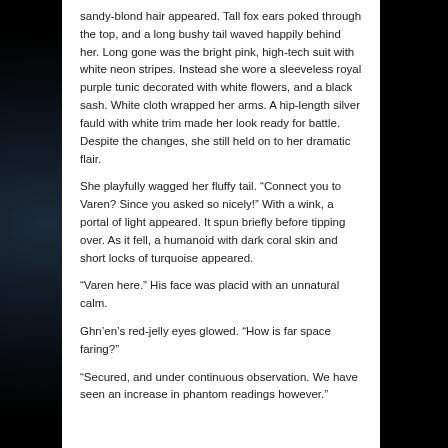sandy-blond hair appeared. Tall fox ears poked through the top, and a long bushy tail waved happily behind her. Long gone was the bright pink, high-tech suit with white neon stripes. Instead she wore a sleeveless royal purple tunic decorated with white flowers, and a black sash. White cloth wrapped her arms. A hip-length silver fauld with white trim made her look ready for battle. Despite the changes, she still held on to her dramatic flair.
She playfully wagged her fluffy tail. “Connect you to Varen? Since you asked so nicely!” With a wink, a portal of light appeared. It spun briefly before tipping over. As it fell, a humanoid with dark coral skin and short locks of turquoise appeared.
“Varen here.” His face was placid with an unnatural calm.
Ghn’en’s red-jelly eyes glowed. “How is far space faring?”
“Secured, and under continuous observation. We have seen an increase in phantom readings however.”